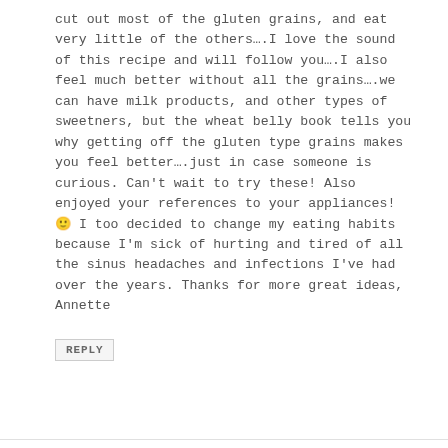cut out most of the gluten grains, and eat very little of the others….I love the sound of this recipe and will follow you….I also feel much better without all the grains….we can have milk products, and other types of sweetners, but the wheat belly book tells you why getting off the gluten type grains makes you feel better….just in case someone is curious. Can't wait to try these! Also enjoyed your references to your appliances! 🙂 I too decided to change my eating habits because I'm sick of hurting and tired of all the sinus headaches and infections I've had over the years. Thanks for more great ideas, Annette
REPLY